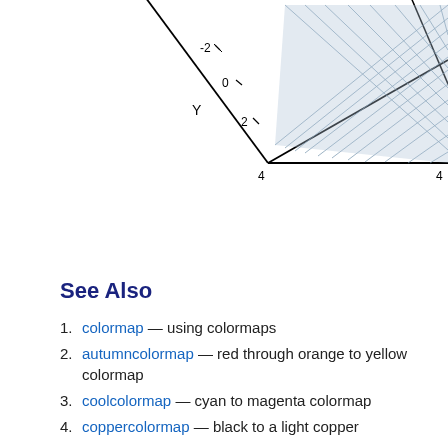[Figure (engineering-diagram): Partial 3D surface/mesh plot showing a grid surface in the upper-right portion of the page. Axes labeled Y with tick marks at -2, 0, 2 and X axis with tick marks at 4. The surface is rendered with a blue-gray grid pattern, clipped at the right and top edges.]
See Also
colormap — using colormaps
autumncolormap — red through orange to yellow colormap
coolcolormap — cyan to magenta colormap
coppercolormap — black to a light copper